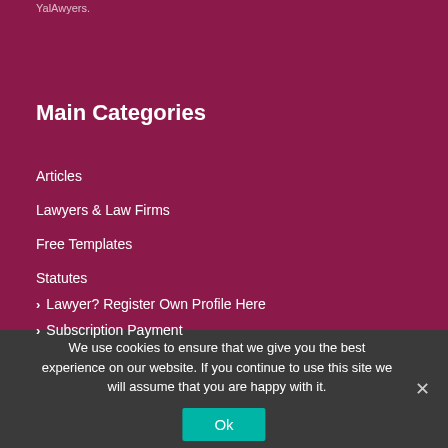YalAwyers.
Main Categories
Articles
Lawyers & Law Firms
Free Templates
Statutes
> Lawyer? Register Own Profile Here
> Subscription Payment
We use cookies to ensure that we give you the best experience on our website. If you continue to use this site we will assume that you are happy with it.
Ok